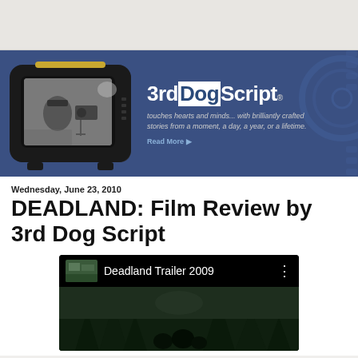[Figure (screenshot): Website header/banner for 3rdDogScript with a vintage TV image showing black and white footage of a person with a camera, and text 'touches hearts and minds... with brilliantly crafted stories from a moment, a day, a year, or a lifetime.' with 'Read More ▶']
Wednesday, June 23, 2010
DEADLAND: Film Review by 3rd Dog Script
[Figure (screenshot): YouTube video embed showing 'Deadland Trailer 2009' with dark forest scene thumbnail]